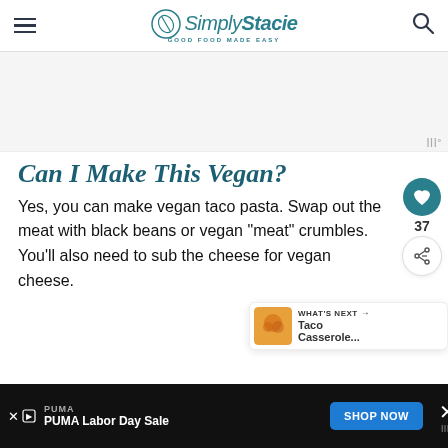Simply Stacie - GOOD FOOD MADE EASY
[Figure (other): Advertisement placeholder area (light gray background)]
Can I Make This Vegan?
Yes, you can make vegan taco pasta. Swap out the meat with black beans or vegan “meat” crumbles. You’ll also need to sub the cheese for vegan cheese.
[Figure (other): What's Next widget showing a Taco Casserole thumbnail and link]
[Figure (other): Bottom advertisement banner: PUMA Labor Day Sale with SHOP NOW button]